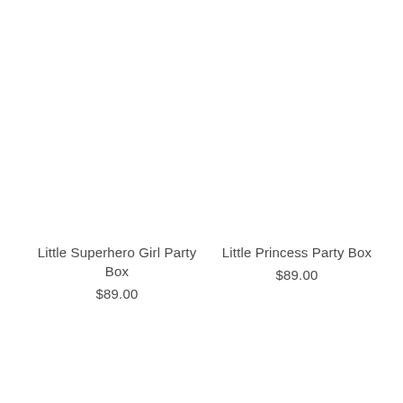Little Superhero Girl Party Box
$89.00
Little Princess Party Box
$89.00